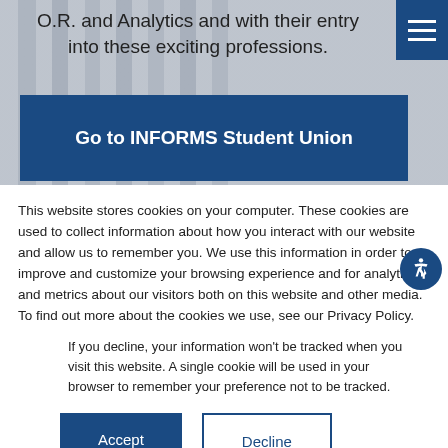O.R. and Analytics and with their entry into these exciting professions.
[Figure (other): Blue button labeled 'Go to INFORMS Student Union' on a background image of a classical building with columns]
This website stores cookies on your computer. These cookies are used to collect information about how you interact with our website and allow us to remember you. We use this information in order to improve and customize your browsing experience and for analytics and metrics about our visitors both on this website and other media. To find out more about the cookies we use, see our Privacy Policy.
If you decline, your information won't be tracked when you visit this website. A single cookie will be used in your browser to remember your preference not to be tracked.
[Figure (other): Accept button (blue filled) and Decline button (blue outline)]